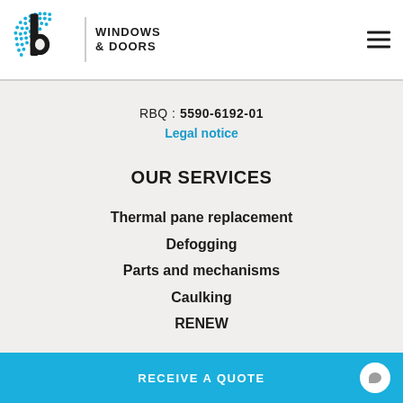[Figure (logo): Basco Windows & Doors logo with blue circular dot pattern and black letter B, with text WINDOWS & DOORS beside a vertical divider line]
RBQ : 5590-6192-01
Legal notice
OUR SERVICES
Thermal pane replacement
Defogging
Parts and mechanisms
Caulking
RENEW
RECEIVE A QUOTE